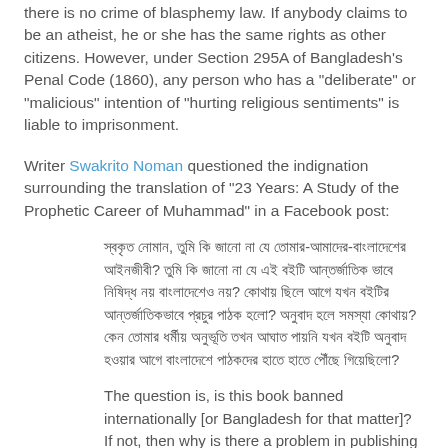there is no crime of blasphemy law. If anybody claims to be an atheist, he or she has the same rights as other citizens. However, under Section 295A of Bangladesh's Penal Code (1860), any person who has a "deliberate" or "malicious" intention of "hurting religious sentiments" is liable to imprisonment.
Writer Swakrito Noman questioned the indignation surrounding the translation of "23 Years: A Study of the Prophetic Career of Muhammad" in a Facebook post:
[Bengali text block - blockquote]
The question is, is this book banned internationally [or Bangladesh for that matter]? If not, then why is there a problem in publishing it? Where were you before it was translated in Bangla? Why were your religious sentiments not hurt then? Or were they not hurt because you do